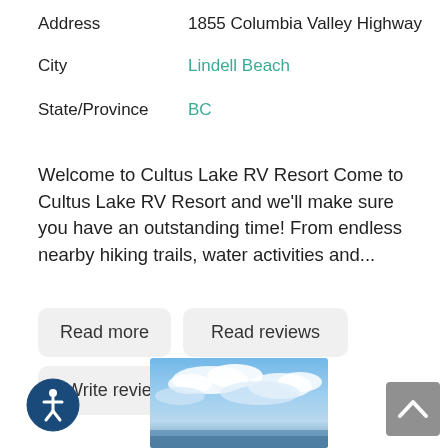Address    1855 Columbia Valley Highway
City    Lindell Beach
State/Province    BC
Welcome to Cultus Lake RV Resort Come to Cultus Lake RV Resort and we'll make sure you have an outstanding time! From endless nearby hiking trails, water activities and...
Read more
Read reviews
Write review
[Figure (photo): Outdoor photo showing a blue sky with clouds over water/landscape]
[Figure (illustration): Accessibility icon - circular dark blue button with person figure]
[Figure (illustration): Back to top button - grey square with upward arrow]